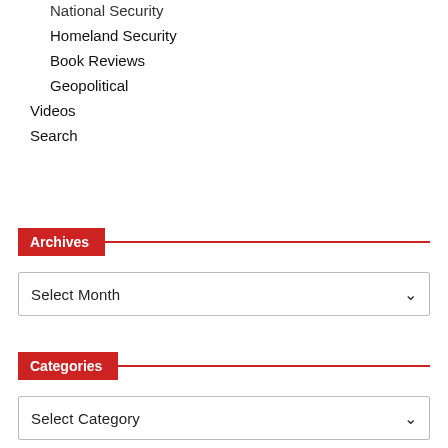National Security
Homeland Security
Book Reviews
Geopolitical
Videos
Search
Archives
Select Month
Categories
Select Category